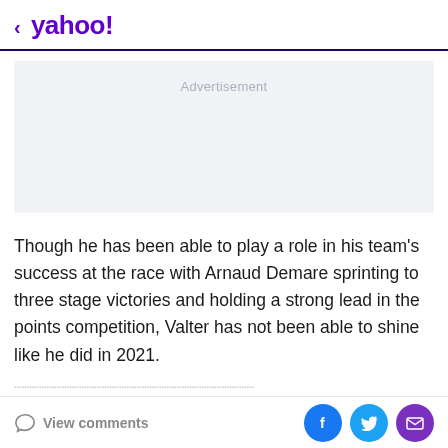< yahoo!
[Figure (other): Advertisement placeholder box with light gray background and 'Advertisement' label in gray text]
Though he has been able to play a role in his team's success at the race with Arnaud Demare sprinting to three stage victories and holding a strong lead in the points competition, Valter has not been able to shine like he did in 2021.
View comments | Facebook | Twitter | Email